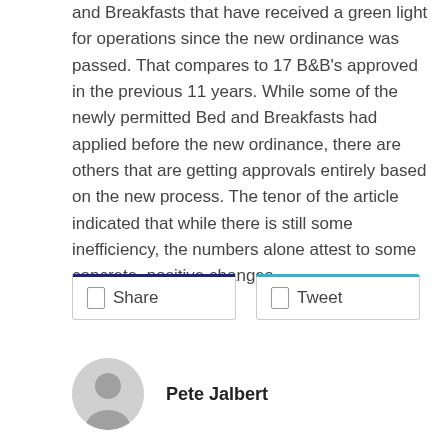and Breakfasts that have received a green light for operations since the new ordinance was passed. That compares to 17 B&B's approved in the previous 11 years. While some of the newly permitted Bed and Breakfasts had applied before the new ordinance, there are others that are getting approvals entirely based on the new process. The tenor of the article indicated that while there is still some inefficiency, the numbers alone attest to some concrete, positive changes.
Share
Tweet
Pete Jalbert